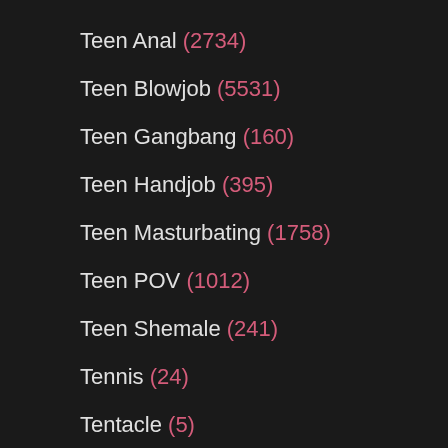Teen Anal (2734)
Teen Blowjob (5531)
Teen Gangbang (160)
Teen Handjob (395)
Teen Masturbating (1758)
Teen POV (1012)
Teen Shemale (241)
Tennis (24)
Tentacle (5)
Thai (682)
Thin (614)
Thong (259)
Threesome (5674)
Throat Fucked (907)
Tickling (72)